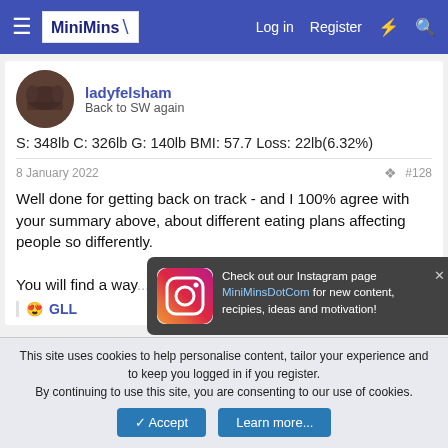MiniMins — Log in, Register
ladyfelsham
Back to SW again
S: 348lb C: 326lb G: 140lb BMI: 57.7 Loss: 22lb(6.32%)
8 January 2022   #128
Well done for getting back on track - and I 100% agree with your summary above, about different eating plans affecting people so differently.

You will find a way... this time xx
😍 GLL
[Figure (screenshot): Instagram popup notification: Instagram icon on left, text reading 'Check out our Instagram page MiniMinsDotCom for new content, recipies, ideas and motivation!' on dark grey background with X close button]
This site uses cookies to help personalise content, tailor your experience and to keep you logged in if you register. By continuing to use this site, you are consenting to our use of cookies.
Accept   Learn more...